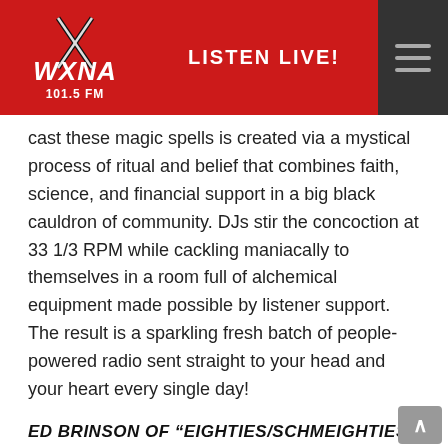[Figure (logo): WXNA 101.5 FM radio station logo with crossed antenna/lightning bolt graphic on red background, with Listen Live! button and hamburger menu on dark header bar]
cast these magic spells is created via a mystical process of ritual and belief that combines faith, science, and financial support in a big black cauldron of community. DJs stir the concoction at 33 1/3 RPM while cackling maniacally to themselves in a room full of alchemical equipment made possible by listener support. The result is a sparkling fresh batch of people-powered radio sent straight to your head and your heart every single day!
ED BRINSON OF “EIGHTIES/SCHMEIGHTIES”
Being part of an organization that is dynamic, growing, and engaged with the community is a true privilege. And planning shows and presenting music beats paying for psychoanalysis!